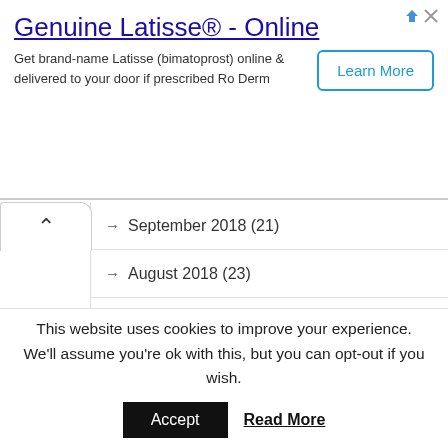[Figure (screenshot): Advertisement banner for Genuine Latisse Online with Learn More button]
September 2018 (21)
August 2018 (23)
July 2018 (10)
June 2018 (36)
May 2018 (17)
April 2018 (38)
March 2018 (14)
February 2018 (29)
This website uses cookies to improve your experience. We'll assume you're ok with this, but you can opt-out if you wish.